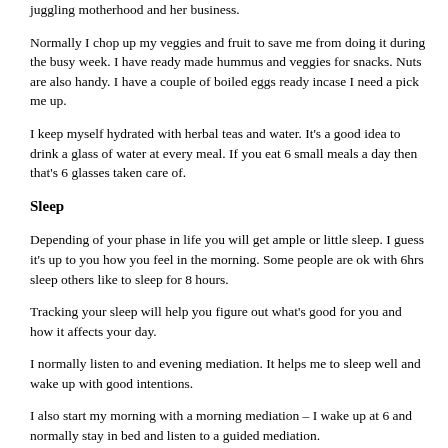bloggers like Nourish with Renata.
Check her out at this link to see how she meal peeps to stay healthy juggling motherhood and her business.
Normally I chop up my veggies and fruit to save me from doing it during the busy week. I have ready made hummus and veggies for snacks. Nuts are also handy. I have a couple of boiled eggs ready incase I need a pick me up.
I keep myself hydrated with herbal teas and water. It’s a good idea to drink a glass of water at every meal. If you eat 6 small meals a day then that’s 6 glasses taken care of.
Sleep
Depending of your phase in life you will get ample or little sleep. I guess it’s up to you how you feel in the morning. Some people are ok with 6hrs sleep others like to sleep for 8 hours.
Tracking your sleep will help you figure out what’s good for you and how it affects your day.
I normally listen to and evening mediation. It helps me to sleep well and wake up with good intentions.
I also start my morning with a morning mediation – I wake up at 6 and normally stay in bed and listen to a guided mediation.